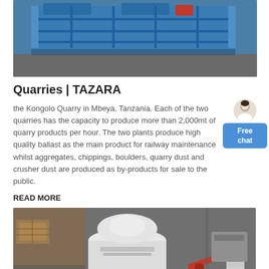[Figure (photo): Industrial blue machinery (quarry crusher equipment) in a factory/warehouse setting]
Quarries | TAZARA
the Kongolo Quarry in Mbeya, Tanzania. Each of the two quarries has the capacity to produce more than 2,000mt of quarry products per hour. The two plants produce high quality ballast as the main product for railway maintenance whilst aggregates, chippings, boulders, quarry dust and crusher dust are produced as by-products for sale to the public.
READ MORE
[Figure (photo): Industrial white cone crusher machinery in a factory/warehouse with XME branding visible in red, and green logo elements]